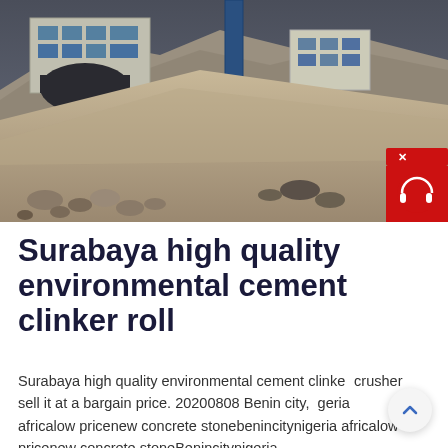[Figure (photo): Construction site photo showing a quarry or mining scene with rock crusher machinery, large concrete retaining wall structures, a rocky hillside/ramp, and loose rocks/gravel in the foreground. Industrial facility with blue pillar visible in background.]
Surabaya high quality environmental cement clinker roll
Surabaya high quality environmental cement clinker crusher sell it at a bargain price. 20200808 Benin city, Nigeria africalow pricenew concrete stonebenincitynigeria africalow pricenew concrete stoneBenincitynigeria